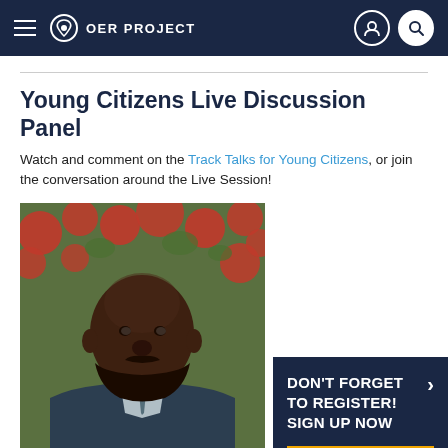OER PROJECT
Young Citizens Live Discussion Panel
Watch and comment on the Track Talks for Young Citizens, or join the conversation around the Live Session!
[Figure (photo): Portrait photo of a bald Black man with a beard, wearing a suit jacket, in front of red flowers]
DON'T FORGET TO REGISTER! SIGN UP NOW